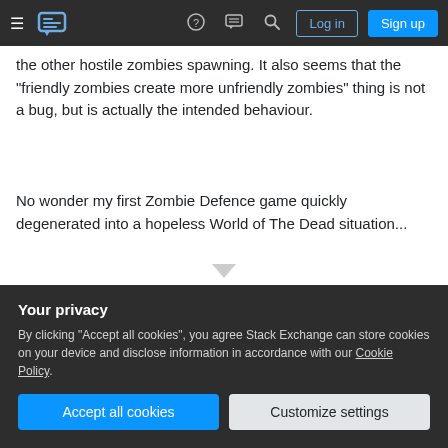Stack Exchange navigation bar with hamburger menu, logo, help, chat, search icons, Log in and Sign up buttons
the other hostile zombies spawning. It also seems that the "friendly zombies create more unfriendly zombies" thing is not a bug, but is actually the intended behaviour.
No wonder my first Zombie Defence game quickly degenerated into a hopeless World of The Dead situation...
Share
Improve this answer
Follow
answered Mar 30, 2021 at 9:45
Michael Campbell
5,947  7  44  63
Your privacy
By clicking "Accept all cookies", you agree Stack Exchange can store cookies on your device and disclose information in accordance with our Cookie Policy.
Accept all cookies  Customize settings